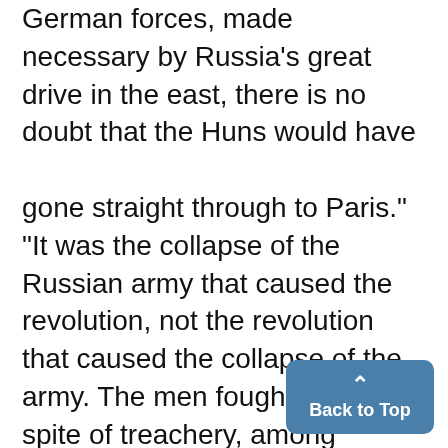German forces, made necessary by Russia's great drive in the east, there is no doubt that the Huns would have gone straight through to Paris." "It was the collapse of the Russian army that caused the revolution, not the revolution that caused the collapse of the army. The men fought on in spite of treachery, among officers and' even among court officials. The Czar himself was 99 per cent Geramn and married to a German, while his ister of war was a pronounced